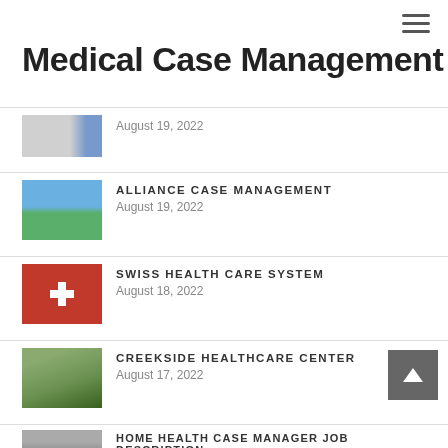Medical Case Management
August 19, 2022
ALLIANCE CASE MANAGEMENT
August 19, 2022
SWISS HEALTH CARE SYSTEM
August 18, 2022
CREEKSIDE HEALTHCARE CENTER
August 17, 2022
HOME HEALTH CASE MANAGER JOB DESCRIPTION